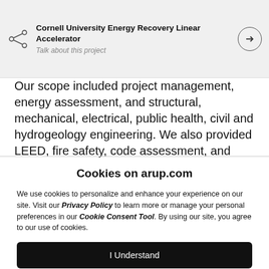Cornell University Energy Recovery Linear Accelerator | Talk about this project
Our scope included project management, energy assessment, and structural, mechanical, electrical, public health, civil and hydrogeology engineering. We also provided LEED, fire safety, code assessment, and
Cookies on arup.com
We use cookies to personalize and enhance your experience on our site. Visit our Privacy Policy to learn more or manage your personal preferences in our Cookie Consent Tool. By using our site, you agree to our use of cookies.
I Understand
Manage cookies on arup.com